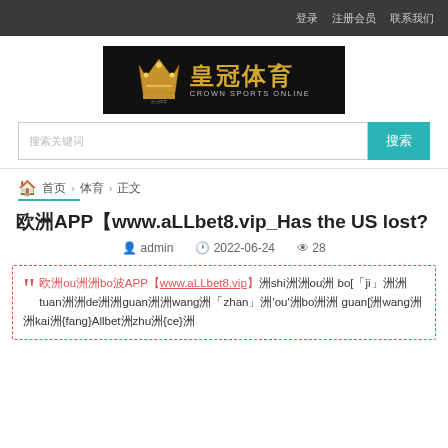登录 注册会员 联系我们
[Figure (logo): 皇冠体育 Crown Sports Online logo with golden crown on black background]
搜索关键词
搜索
首页 › 体育 › 正文
欧洲APP【www.aLLbet8.vip_Has the US lost?
admin  2022-06-24  28
欧ou洲洲bo波APP【www.aLLbet8.vip】洲shi洲洲ou洲 bo[「ji」洲洲tuan洲洲de洲洲guan洲洲wang洲「zhan」洲'ou'洲bo洲洲 guan[洲wang洲洲kai洲{fang}Allbet洲zhu洲{ce}洲